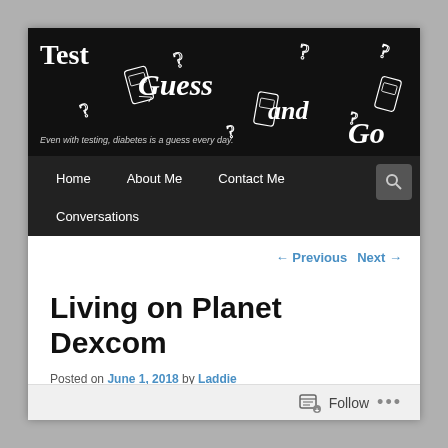[Figure (screenshot): Blog header banner with black background showing site title 'Test Guess and Go' in white serif font with decorative question marks and blood glucose meter illustrations]
Test Guess and Go
Even with testing, diabetes is a guess every day.
Home   About Me   Contact Me   Conversations
← Previous   Next →
Living on Planet Dexcom
Posted on June 1, 2018 by Laddie
Follow ...